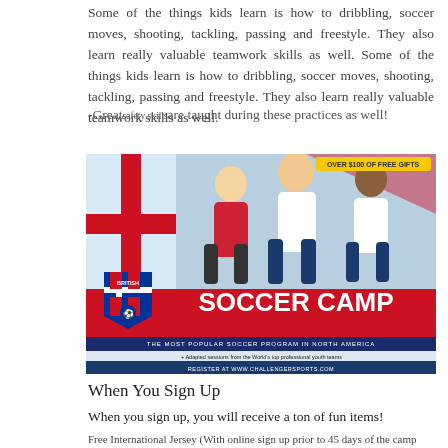Some of the things kids learn is how to dribbling, soccer moves, shooting, tackling, passing and freestyle. They also learn really valuable teamwork skills as well.
-Great safety skills are taught during these practices as well!
[Figure (illustration): British Soccer Camp advertisement banner showing three youth soccer players running in Challenger Sports uniforms, with the British Soccer shield logo, text 'SOCCER CAMP', 'THE MOST POPULAR SOCCER PROGRAM IN NORTH AMERICA', bullet points about adapted sessions, player development, age appropriate practices for ages 3-18, international coaching staff, and 'REGISTER AT WWW.CHALLENGERSPORTS.COM'. Banner also says 'OVER $100 OF FREE GIFTS'.]
When You Sign Up
When you sign up, you will receive a ton of fun items!
Free International Jersey (With online sign up prior to 45 days of the camp start.)